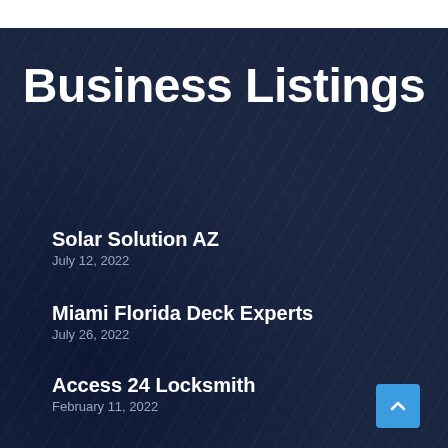Business Listings
Solar Solution AZ
July 12, 2022
Miami Florida Deck Experts
July 26, 2022
Access 24 Locksmith
February 11, 2022